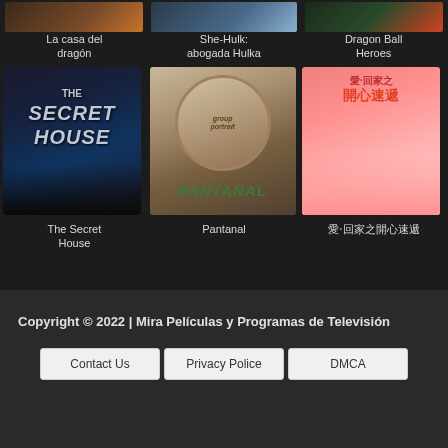[Figure (screenshot): Top row thumbnails: La casa del dragón, She-Hulk: abogada Hulka, Dragon Ball Heroes]
La casa del dragón
She-Hulk: abogada Hulka
Dragon Ball Heroes
[Figure (screenshot): Bottom row show posters: The Secret House (dark mystery drama), Pantanal (telenovela), Chinese show with pink background]
The Secret House
Pantanal
愛‧回家之開心速遞
Copyright © 2022 | Mira Películas y Programas de Televisión
Contact Us
Privacy Police
DMCA